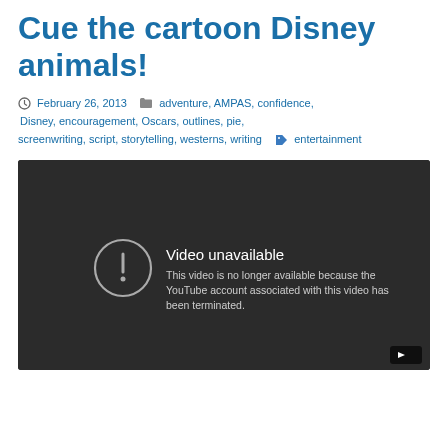Cue the cartoon Disney animals!
February 26, 2013   adventure, AMPAS, confidence, Disney, encouragement, Oscars, outlines, pie, screenwriting, script, storytelling, westerns, writing   entertainment
[Figure (screenshot): Embedded YouTube video player showing 'Video unavailable' error message: 'This video is no longer available because the YouTube account associated with this video has been terminated.']